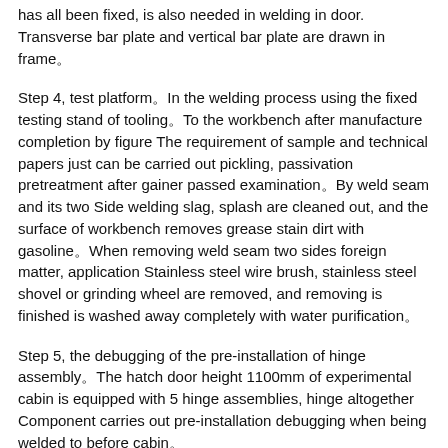has all been fixed, is also needed in welding in door. Transverse bar plate and vertical bar plate are drawn in frame。
Step 4, test platform。In the welding process using the fixed testing stand of tooling。To the workbench after manufacture completion by figure The requirement of sample and technical papers just can be carried out pickling, passivation pretreatment after gainer passed examination。By weld seam and its two Side welding slag, splash are cleaned out, and the surface of workbench removes grease stain dirt with gasoline。When removing weld seam two sides foreign matter, application Stainless steel wire brush, stainless steel shovel or grinding wheel are removed, and removing is finished is washed away completely with water purification。
Step 5, the debugging of the pre-installation of hinge assembly。The hatch door height 1100mm of experimental cabin is equipped with 5 hinge assemblies, hinge altogether Component carries out pre-installation debugging when being welded to before cabin。
Step 6, aperture。The aperture of hatch door uses plasma aperture, opens 1100 × 900 mms in the cabin of 2000 mm diameters Hatch door, by hatch door and cabin mutually to pass through picture good, make 1。1 template, crosses according to